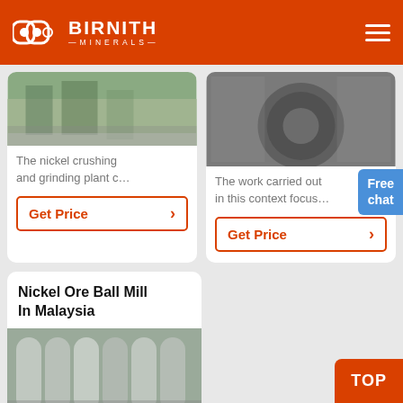BIRNITH MINERALS
[Figure (photo): Photo of a nickel crushing and grinding plant interior with green plants visible]
The nickel crushing and grinding plant c…
Get Price
[Figure (photo): Photo of industrial milling/grinding machine equipment]
The work carried out in this context focus…
Get Price
Free chat
Nickel Ore Ball Mill In Malaysia
[Figure (photo): Photo of ball mill cylinders/grinding media lined up in a row]
TOP